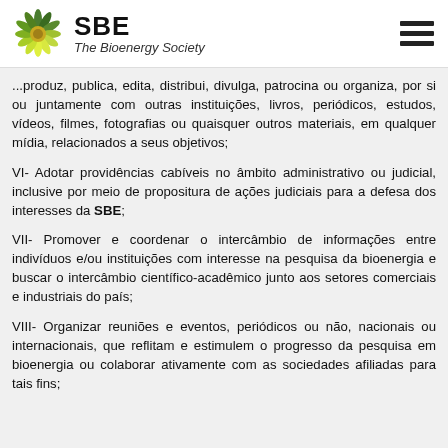SBE The Bioenergy Society
...produz, publica, edita, distribui, divulga, patrocina ou organiza, por si ou juntamente com outras instituições, livros, periódicos, estudos, vídeos, filmes, fotografias ou quaisquer outros materiais, em qualquer mídia, relacionados a seus objetivos;
VI- Adotar providências cabíveis no âmbito administrativo ou judicial, inclusive por meio de propositura de ações judiciais para a defesa dos interesses da SBE;
VII- Promover e coordenar o intercâmbio de informações entre indivíduos e/ou instituições com interesse na pesquisa da bioenergia e buscar o intercâmbio científico-acadêmico junto aos setores comerciais e industriais do país;
VIII- Organizar reuniões e eventos, periódicos ou não, nacionais ou internacionais, que reflitam e estimulem o progresso da pesquisa em bioenergia ou colaborar ativamente com as sociedades afiliadas para tais fins;